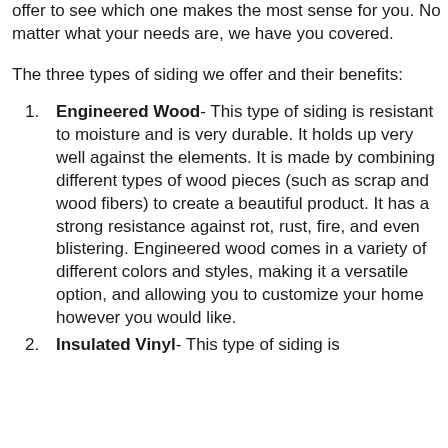offer to see which one makes the most sense for you. No matter what your needs are, we have you covered.
The three types of siding we offer and their benefits:
Engineered Wood- This type of siding is resistant to moisture and is very durable. It holds up very well against the elements. It is made by combining different types of wood pieces (such as scrap and wood fibers) to create a beautiful product. It has a strong resistance against rot, rust, fire, and even blistering. Engineered wood comes in a variety of different colors and styles, making it a versatile option, and allowing you to customize your home however you would like.
Insulated Vinyl- This type of siding is